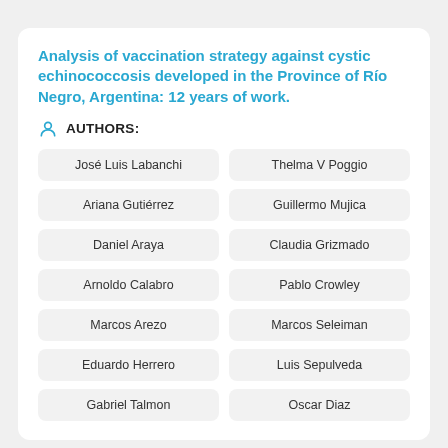Analysis of vaccination strategy against cystic echinococcosis developed in the Province of Río Negro, Argentina: 12 years of work.
AUTHORS:
José Luis Labanchi
Thelma V Poggio
Ariana Gutiérrez
Guillermo Mujica
Daniel Araya
Claudia Grizmado
Arnoldo Calabro
Pablo Crowley
Marcos Arezo
Marcos Seleiman
Eduardo Herrero
Luis Sepulveda
Gabriel Talmon
Oscar Diaz